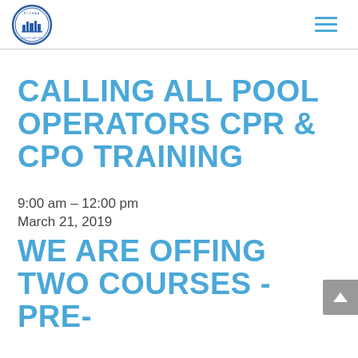NYCBAA logo and navigation menu
CALLING ALL POOL OPERATORS CPR & CPO TRAINING
9:00 am – 12:00 pm
March 21, 2019
WE ARE OFFING TWO COURSES - PRE-